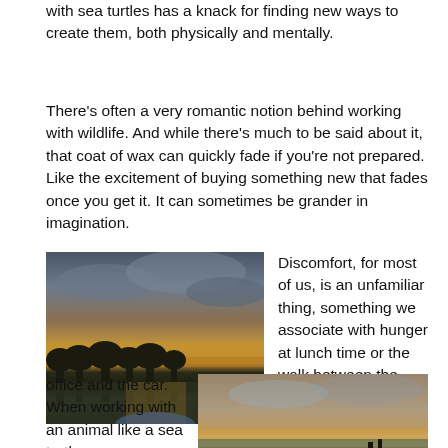with sea turtles has a knack for finding new ways to create them, both physically and mentally.
There's often a very romantic notion behind working with wildlife. And while there's much to be said about it, that coat of wax can quickly fade if you're not prepared. Like the excitement of buying something new that fades once you get it. It can sometimes be grander in imagination.
[Figure (photo): Sunset over a body of water with silhouetted trees and cloudy sky, viewed from a boat]
Discomfort, for most of us, is an unfamiliar thing, something we associate with hunger at lunch time or the walk between the
office and the car. When working with an animal like a sea turtle, you soon realize that
[Figure (photo): Beach scene at dusk/dawn with orange sky and silhouetted figures with red object on the shore]